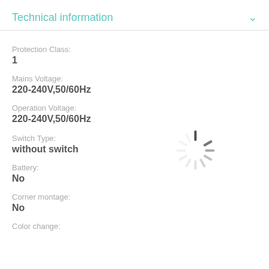Technical information
Protection Class:
1
Mains Voltage:
220-240V,50/60Hz
Operation Voltage:
220-240V,50/60Hz
[Figure (illustration): Loading spinner / activity indicator icon (rotating dashes in a circle, gray color)]
Switch Type:
without switch
Battery:
No
Corner montage:
No
Color change: